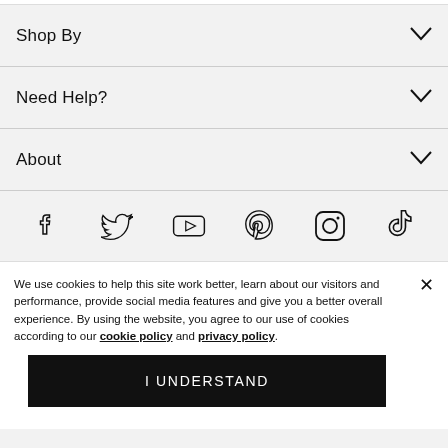Shop By
Need Help?
About
[Figure (illustration): Row of social media icons: Facebook, Twitter, YouTube, Pinterest, Instagram, TikTok]
We use cookies to help this site work better, learn about our visitors and performance, provide social media features and give you a better overall experience. By using the website, you agree to our use of cookies according to our cookie policy and privacy policy.
I UNDERSTAND